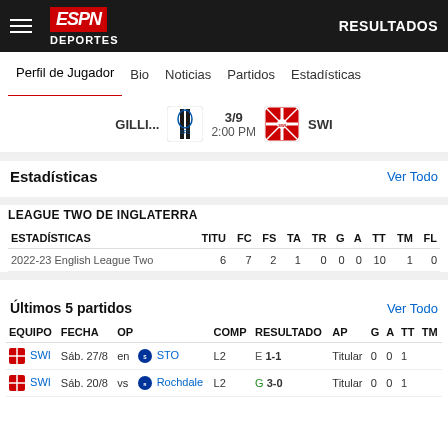ESPN DEPORTES — RESULTADOS
Perfil de Jugador  Bio  Noticias  Partidos  Estadísticas
GILLI... 3/9 2:00 PM SWI
Estadísticas
Ver Todo
LEAGUE TWO DE INGLATERRA
| ESTADÍSTICAS | TITU | FC | FS | TA | TR | G | A | TT | TM | FL |
| --- | --- | --- | --- | --- | --- | --- | --- | --- | --- | --- |
| 2022-23 English League Two | 6 | 7 | 2 | 1 | 0 | 0 | 0 | 10 | 1 | 0 |
Últimos 5 partidos
Ver Todo
| EQUIPO | FECHA | OP |  | COMP | RESULTADO | AP | G | A | TT | TM |
| --- | --- | --- | --- | --- | --- | --- | --- | --- | --- | --- |
| SWI | Sáb. 27/8 | en | STO | L2 | E 1-1 | Titular | 0 | 0 | 1 |  |
| SWI | Sáb. 20/8 | vs | Rochdale | L2 | G 3-0 | Titular | 0 | 0 | 1 |  |